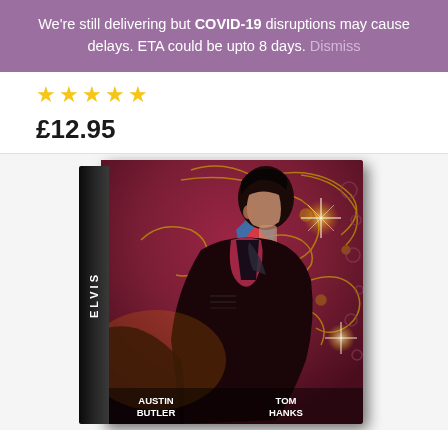We're still delivering but COVID-19 disruptions may cause delays. ETA could be upto 8 days. Dismiss
★★★★★
£12.95
[Figure (photo): DVD case for the Elvis movie featuring Austin Butler and Tom Hanks, shown at an angle with the spine on the left showing 'ELVIS' text. The cover has a decorative purple/maroon background with gold patterns and shows a man singing into a vintage microphone.]